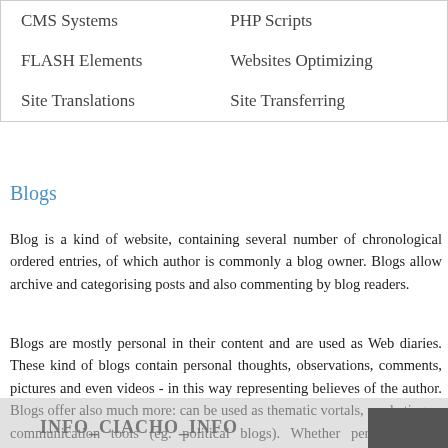| CMS Systems | PHP Scripts |
| FLASH Elements | Websites Optimizing |
| Site Translations | Site Transferring |
Blogs
Blog is a kind of website, containing several number of chronological ordered entries, of which author is commonly a blog owner. Blogs allow archive and categorising posts and also commenting by blog readers.
Blogs are mostly personal in their content and are used as Web diaries. These kind of blogs contain personal thoughts, observations, comments, pictures and even videos - in this way representing believes of the author. Blogs offer also much more: can be used as thematic vortals, marketing or communication tools (eg. political blogs). Whether personal blogs commonly have multiple authors, number of authors increases.